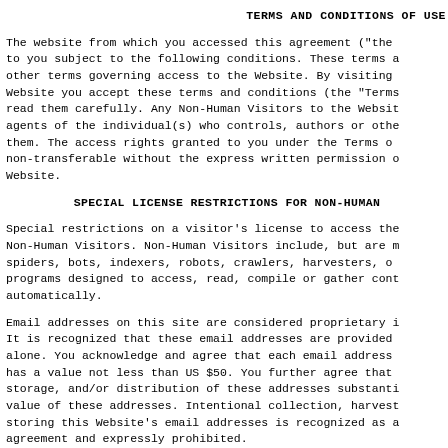TERMS AND CONDITIONS OF USE
The website from which you accessed this agreement ("the to you subject to the following conditions. These terms a other terms governing access to the Website. By visiting Website you accept these terms and conditions (the "Terms read them carefully. Any Non-Human Visitors to the Websit agents of the individual(s) who controls, authors or othe them. The access rights granted to you under the Terms o non-transferable without the express written permission o Website.
SPECIAL LICENSE RESTRICTIONS FOR NON-HUMAN
Special restrictions on a visitor's license to access the Non-Human Visitors. Non-Human Visitors include, but are m spiders, bots, indexers, robots, crawlers, harvesters, o programs designed to access, read, compile or gather cont automatically.
Email addresses on this site are considered proprietary i It is recognized that these email addresses are provided alone. You acknowledge and agree that each email address has a value not less than US $50. You further agree that storage, and/or distribution of these addresses substanti value of these addresses. Intentional collection, harvest storing this Website's email addresses is recognized as a agreement and expressly prohibited.
APPLICABLE LAW AND JURISDICTION